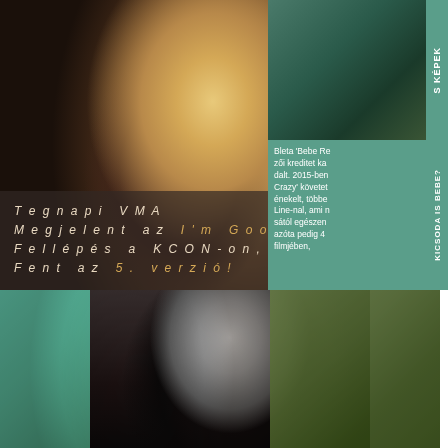[Figure (photo): Close-up portrait of Bebe Rexha with blonde hair and red lips, main editorial photo]
[Figure (photo): Small teal-tinted photo of Bebe Rexha in top-right corner]
Bleta 'Bebe Rexha' zői kreditet ka dalt. 2015-ben Crazy' követet énekelt, többe Line-nal, ami m sától egészen azóta pedig 4 filmjében,
Tegnapi VMA
Megjelent az I'm Good (Blue)!
Fellépés a KCON-on, pénteken dalpremier
Fent az 5. verzió!
[Figure (photo): Bottom collage of Bebe Rexha photos — teal and green tinted versions alongside a central black-and-white editorial shot in black vinyl jacket]